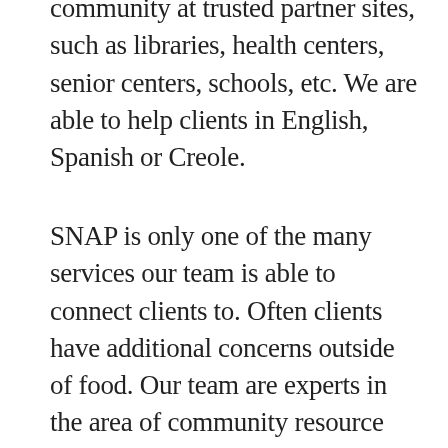community at trusted partner sites, such as libraries, health centers, senior centers, schools, etc. We are able to help clients in English, Spanish or Creole.
SNAP is only one of the many services our team is able to connect clients to. Often clients have additional concerns outside of food. Our team are experts in the area of community resource referrals. During each screening, we will be able to provide referrals to clients to local food pantries and other community resources (housing, furniture, employment, education, etc) that are available across Long Island.